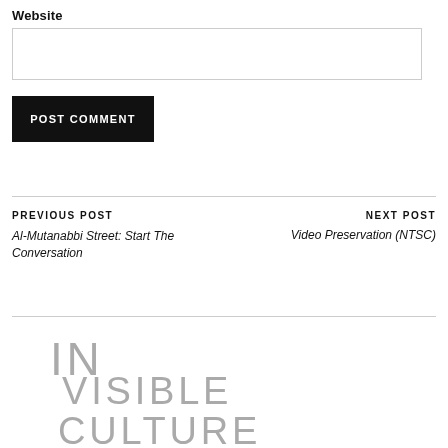Website
POST COMMENT
PREVIOUS POST
Al-Mutanabbi Street: Start The Conversation
NEXT POST
Video Preservation (NTSC)
[Figure (logo): Invisible Culture logo text in light gray, large stylized letters reading IN VISIBLE CULTURE]